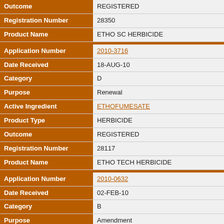| Field | Value |
| --- | --- |
| Outcome | REGISTERED |
| Registration Number | 28350 |
| Product Name | ETHO SC HERBICIDE |
| [separator] |  |
| Application Number | 2010-3716 |
| Date Received | 18-AUG-10 |
| Category | D |
| Purpose | Renewal |
| Active Ingredient | ETHOFUMESATE |
| Product Type | HERBICIDE |
| Outcome | REGISTERED |
| Registration Number | 28117 |
| Product Name | ETHO TECH HERBICIDE |
| [separator] |  |
| Application Number | 2010-0632 |
| Date Received | 02-FEB-10 |
| Category | B |
| Purpose | Amendment |
| Active Ingredient | ETHOFUMESATE |
| Product Type | HERBICIDE |
| Outcome | DONE |
| Registration Number | 20364 |
| Product Name | ETHOFUMESATE TECHNICAL HERBICIDE |
| [separator] |  |
| Application Number | 2009-4227 |